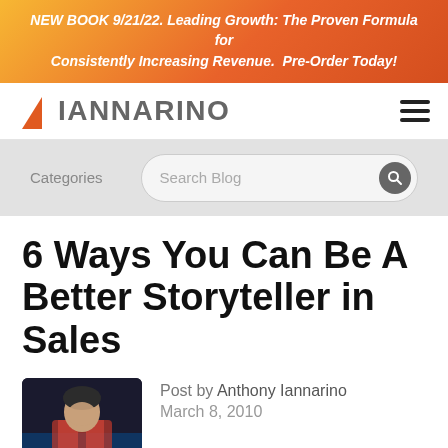NEW BOOK 9/21/22. Leading Growth: The Proven Formula for Consistently Increasing Revenue. Pre-Order Today!
[Figure (logo): Iannarino logo with orange triangle and grey text]
Categories
Search Blog
6 Ways You Can Be A Better Storyteller in Sales
[Figure (photo): Photo of Anthony Iannarino]
Post by Anthony Iannarino
March 8, 2010